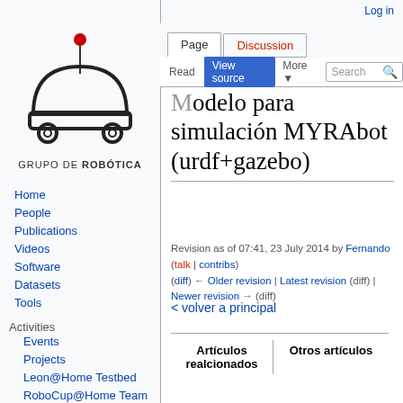Log in
[Figure (logo): Robot illustration with dome shape and wheels, labeled GRUPO DE ROBÓTICA]
Home
People
Publications
Videos
Software
Datasets
Tools
Activities
Events
Projects
Leon@Home Testbed
RoboCup@Home Team
Modelo para simulación MYRAbot (urdf+gazebo)
Revision as of 07:41, 23 July 2014 by Fernando (talk | contribs)
(diff) ← Older revision | Latest revision (diff) | Newer revision → (diff)
< volver a principal
| Artículos realcionados | Otros artículos |
| --- | --- |